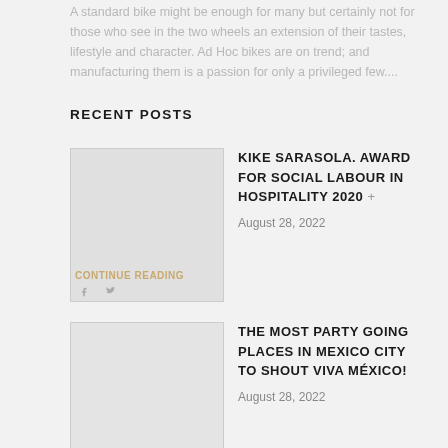A standard bike might be enough for many but certainly not for those who see in the two wheels an extension of their tastes, lifestyle and character. Ad Hoc bikes are on trend; and manufacturing them is a passion for only a privileged few....
RECENT POSTS
CONTINUE READING
KIKE SARASOLA. AWARD FOR SOCIAL LABOUR IN HOSPITALITY 2020 +
August 28, 2022
THE MOST PARTY GOING PLACES IN MEXICO CITY TO SHOUT VIVA MÉXICO!
August 28, 2022
THE FROGS' MARKET
August 28, 2022
A DIFFERENT BARCELONA SHOPPING GUIDE